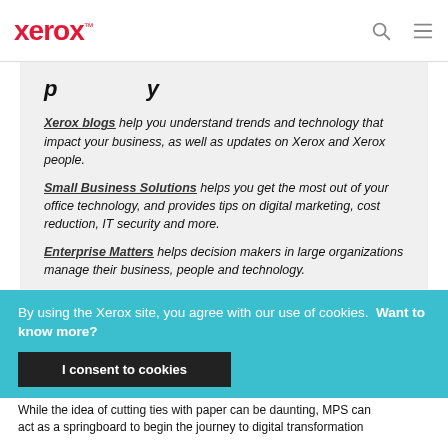xerox™
Xerox blogs help you understand trends and technology that impact your business, as well as updates on Xerox and Xerox people.
Small Business Solutions helps you get the most out of your office technology, and provides tips on digital marketing, cost reduction, IT security and more.
Enterprise Matters helps decision makers in large organizations manage their business, people and technology.
By using the Xerox site, you agree with our use of cookies. Want to know more?
I consent to cookies
While the idea of cutting ties with paper can be daunting, MPS can act as a springboard to begin the journey to digital transformation